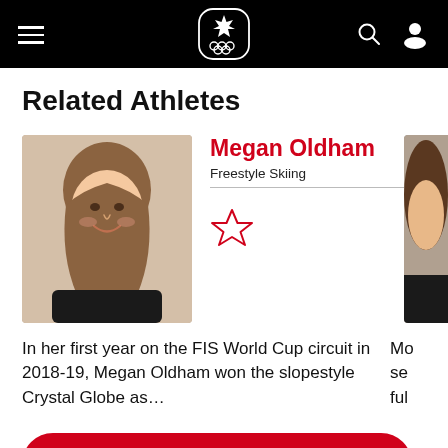Canadian Olympic Committee navigation header
Related Athletes
[Figure (photo): Photo of Megan Oldham, a young woman with long brown hair, smiling, wearing a dark jacket]
Megan Oldham
Freestyle Skiing
In her first year on the FIS World Cup circuit in 2018-19, Megan Oldham won the slopestyle Crystal Globe as...
VIEW ALL ATHLETES